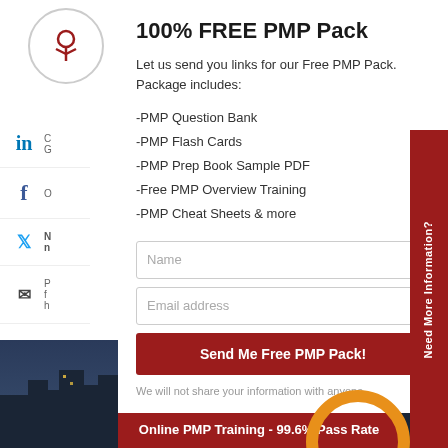100% FREE PMP Pack
Let us send you links for our Free PMP Pack. Package includes:
-PMP Question Bank
-PMP Flash Cards
-PMP Prep Book Sample PDF
-Free PMP Overview Training
-PMP Cheat Sheets & more
Name (input field)
Email address (input field)
Send Me Free PMP Pack! (button)
We will not share your information with anyone
Need More Information?
Online PMP Training - 99.6% Pass Rate